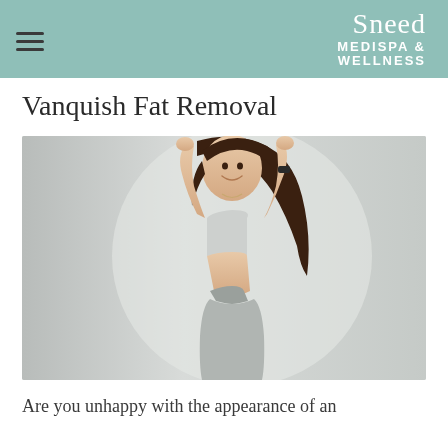Sneed Medispa & Wellness
Vanquish Fat Removal
[Figure (photo): Smiling woman with dark hair wearing a light gray sports bra and gray sweatpants, arms raised behind her head, showing toned midsection, on a light gray background]
Are you unhappy with the appearance of an